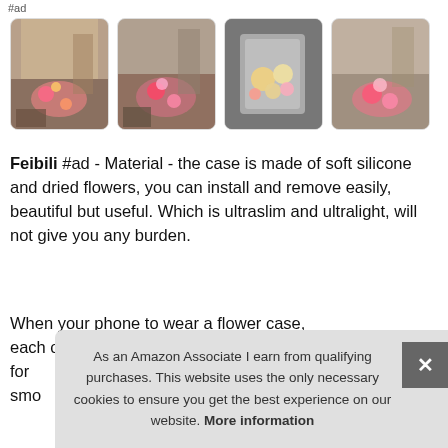#ad
[Figure (photo): Four thumbnail images of floral phone cases displayed in a store setting]
Feibili #ad - Material - the case is made of soft silicone and dried flowers, you can install and remove easily, beautiful but useful. Which is ultraslim and ultralight, will not give you any burden.
When your phone to wear a flower case, each one is unique, the [obscured] for [obscured] smo[obscured]
As an Amazon Associate I earn from qualifying purchases. This website uses the only necessary cookies to ensure you get the best experience on our website. More information